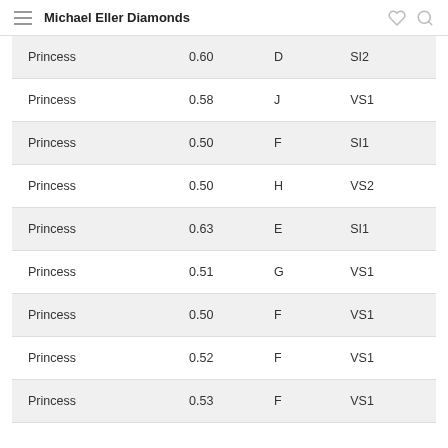Michael Eller Diamonds
| Princess | 0.60 | D | SI2 |
| Princess | 0.58 | J | VS1 |
| Princess | 0.50 | F | SI1 |
| Princess | 0.50 | H | VS2 |
| Princess | 0.63 | E | SI1 |
| Princess | 0.51 | G | VS1 |
| Princess | 0.50 | F | VS1 |
| Princess | 0.52 | F | VS1 |
| Princess | 0.53 | F | VS1 |